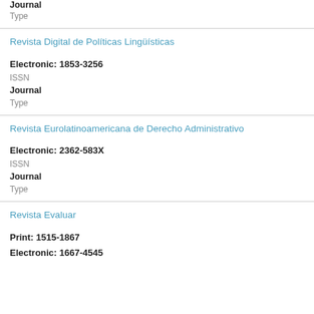Journal
Type
Revista Digital de Políticas Lingüísticas
Electronic: 1853-3256
ISSN
Journal
Type
Revista Eurolatinoamericana de Derecho Administrativo
Electronic: 2362-583X
ISSN
Journal
Type
Revista Evaluar
Print: 1515-1867
Electronic: 1667-4545